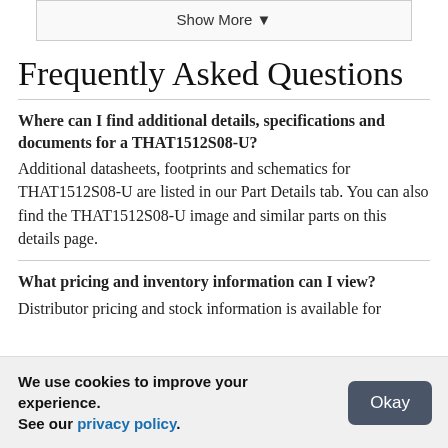Show More ▼
Frequently Asked Questions
Where can I find additional details, specifications and documents for a THAT1512S08-U?
Additional datasheets, footprints and schematics for THAT1512S08-U are listed in our Part Details tab. You can also find the THAT1512S08-U image and similar parts on this details page.
What pricing and inventory information can I view?
Distributor pricing and stock information is available for
We use cookies to improve your experience. See our privacy policy.